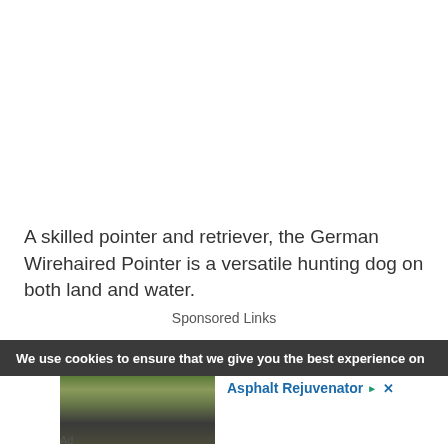A skilled pointer and retriever, the German Wirehaired Pointer is a versatile hunting dog on both land and water.
Sponsored Links
We use cookies to ensure that we give you the best experience on
[Figure (photo): Photo of a driveway or road with asphalt surface, with trees and a house in the background. Advertisement for Asphalt Rejuvenator.]
Ad